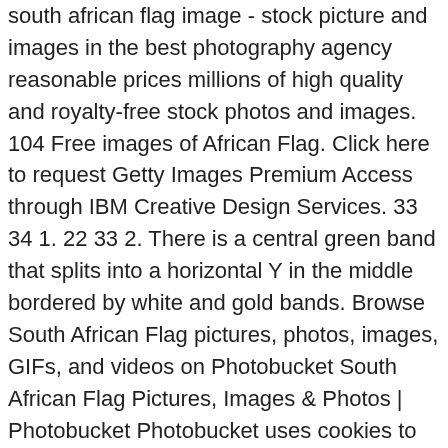south african flag image - stock picture and images in the best photography agency reasonable prices millions of high quality and royalty-free stock photos and images. 104 Free images of African Flag. Click here to request Getty Images Premium Access through IBM Creative Design Services. 33 34 1. 22 33 2. There is a central green band that splits into a horizontal Y in the middle bordered by white and gold bands. Browse South African Flag pictures, photos, images, GIFs, and videos on Photobucket South African Flag Pictures, Images & Photos | Photobucket Photobucket uses cookies to ensure you get the best experience on our website. The new national flag, designed by the then State Herald of South Africa Frederick Brownell, was chosen to represent the country's new democracy after the end of apartheid. A printable PDF version of the flag is also available. Kenya Flag Fingerprint. ... For example, almost all of them are striped, except of the flat rectangles of Morocco, Tunisia, Mauritania, Eritrea, Somalia. The South African flag is a horizontal bicolor of red and blue with a black triangle on the left side. Collect, curate and comment on